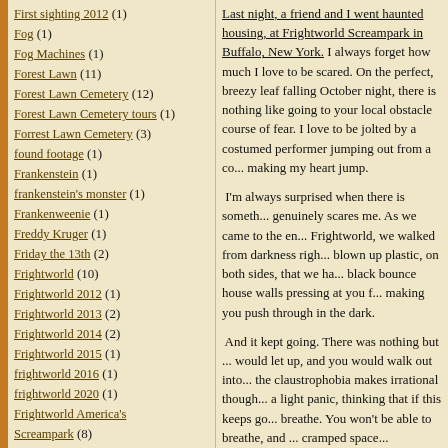First sighting 2012 (1)
Fog (1)
Fog Machines (1)
Forest Lawn (11)
Forest Lawn Cemetery (12)
Forest Lawn Cemetery tours (1)
Forrest Lawn Cemetery (3)
found footage (1)
Frankenstein (1)
frankenstein's monster (1)
Frankenweenie (1)
Freddy Kruger (1)
Friday the 13th (2)
Frightworld (10)
Frightworld 2012 (1)
Frightworld 2013 (2)
Frightworld 2014 (2)
Frightworld 2015 (1)
frightworld 2016 (1)
frightworld 2020 (1)
Frightworld America's Screampark (8)
frightworld behind the scenes (1)
Frightworld interview (3)
Frightworld WNY (6)
From the Dust Returned (1)
Full Harvest Moon (1)
Full Harvest Moon 2011 (1)
Full moon (1)
Last night, a friend and I went haunted housing, at Frightworld Screampark in Buffalo, New York. I always forget how much I love to be scared. On the perfect, breezy leaf falling October night, there is nothing like going to your local obstacle course of fear. I love to be jolted by a costumed performer jumping out from a co... making my heart jump.
I'm always surprised when there is someth... genuinely scares me. As we came to the en... Frightworld, we walked from darkness righ... blown up plastic, on both sides, that we ha... black bounce house walls pressing at you f... making you push through in the dark.
And it kept going. There was nothing but ... would let up, and you would walk out into... the claustrophobia makes irrational though... a light panic, thinking that if this keeps go... breathe. You won't be able to breathe, and ... cramped space...
When I came out, I knew I'd gotten my m... is all about, Charlie Brown. Fear.